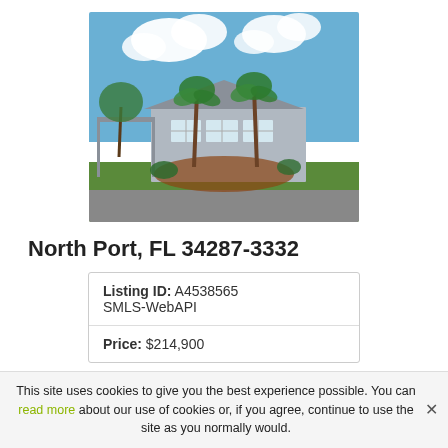[Figure (photo): Exterior photo of a single-story home in North Port, FL with palm trees, blue sky, and a carport on the left]
North Port, FL 34287-3332
| Listing ID: A4538565 SMLS-WebAPI |
| Price: $214,900 |
This site uses cookies to give you the best experience possible. You can read more about our use of cookies or, if you agree, continue to use the site as you normally would.